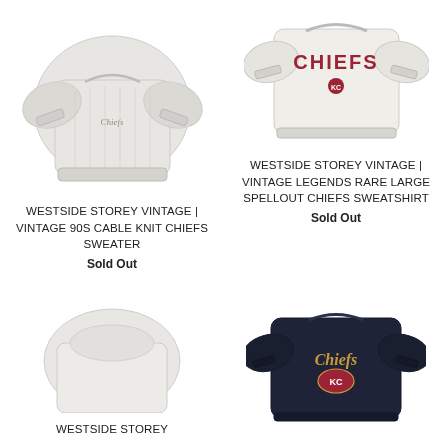[Figure (photo): White cable knit Chiefs sweater, top-left product]
WESTSIDE STOREY VINTAGE | VINTAGE 90S CABLE KNIT CHIEFS SWEATER
Sold Out
[Figure (photo): White Chiefs spellout sweatshirt, top-right product]
WESTSIDE STOREY VINTAGE | VINTAGE LEGENDS RARE LARGE SPELLOUT CHIEFS SWEATSHIRT
Sold Out
[Figure (photo): White/light product, bottom-left, partially visible]
WESTSIDE STOREY
[Figure (photo): Dark navy Chiefs embroidered sweatshirt, bottom-right product]